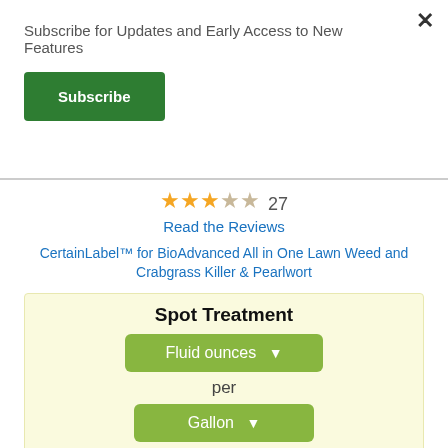Subscribe for Updates and Early Access to New Features
Subscribe
★★★☆☆ 27
Read the Reviews
CertainLabel™ for BioAdvanced All in One Lawn Weed and Crabgrass Killer & Pearlwort
Spot Treatment
Fluid ounces ▼
per
Gallon ▼
Label Rate:
6.4 fluid ounces per gallon